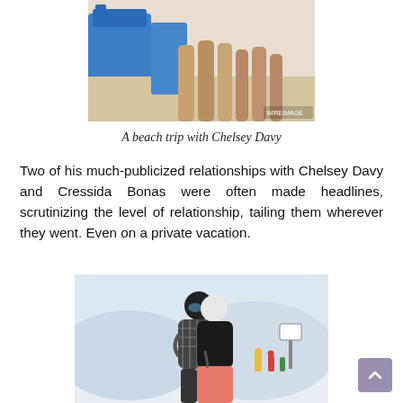[Figure (photo): Cropped photo showing people at a beach, with blue beach chairs/bags visible on the left and bare legs visible, sandy beach in background.]
A beach trip with Chelsey Davy
Two of his much-publicized relationships with Chelsey Davy and Cressida Bonas were often made headlines, scrutinizing the level of relationship, tailing them wherever they went. Even on a private vacation.
[Figure (photo): Photo of two people in ski gear embracing on a snowy ski slope. One person wears a black helmet and goggles and a plaid jacket, the other wears a white helmet and black jacket. A ski pole is visible. Other skiers in the background. The person in front wears orange/salmon ski pants.]